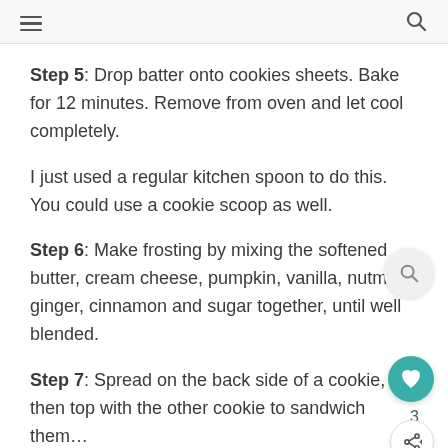≡  🔍
Step 5: Drop batter onto cookies sheets. Bake for 12 minutes. Remove from oven and let cool completely.
I just used a regular kitchen spoon to do this. You could use a cookie scoop as well.
Step 6: Make frosting by mixing the softened butter, cream cheese, pumpkin, vanilla, nutmeg, ginger, cinnamon and sugar together, until well blended.
Step 7: Spread on the back side of a cookie, then top with the other cookie to sandwich them…